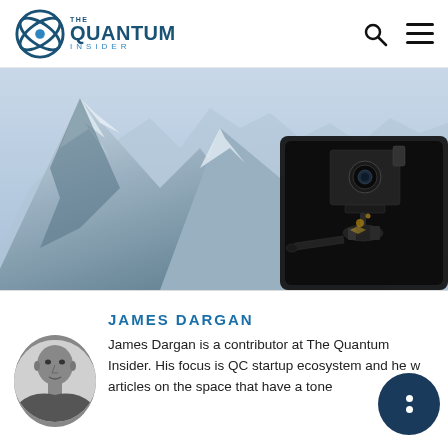[Figure (logo): The Quantum Insider logo with circular icon and text]
[Figure (photo): Hero image: snowy mountain landscape (left portion) with a quantum device/sensor instrument shown in a dark enclosure (right portion)]
JAMES DARGAN
[Figure (photo): Black and white headshot photo of James Dargan, a man in his 40s]
James Dargan is a contributor at The Quantum Insider. His focus is QC startup ecosystem and he w... articles on the space that have a tone